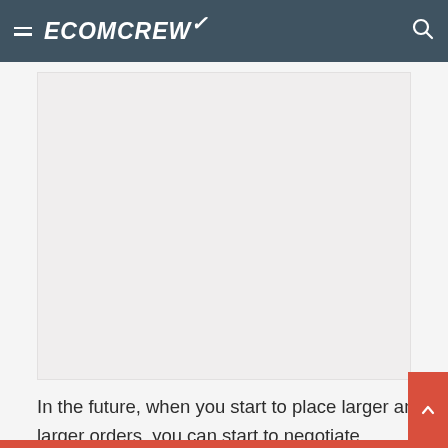ECOMCREW
[Figure (other): Large blank light gray rectangular placeholder image area]
In the future, when you start to place larger and larger orders, you can start to negotiate